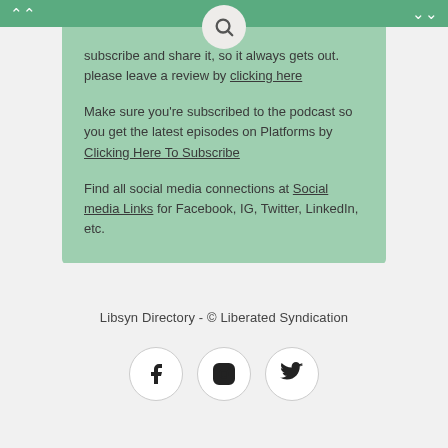subscribe and share it, so it always gets out. please leave a review by clicking here
Make sure you're subscribed to the podcast so you get the latest episodes on Platforms by Clicking Here To Subscribe
Find all social media connections at Social media Links for Facebook, IG, Twitter, LinkedIn, etc.
Libsyn Directory - © Liberated Syndication